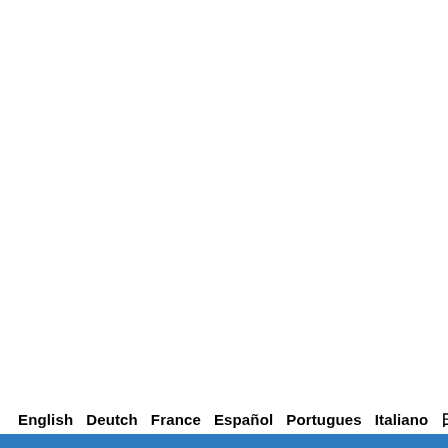English  Deutch  France  Español  Portugues  Italiano  日本語